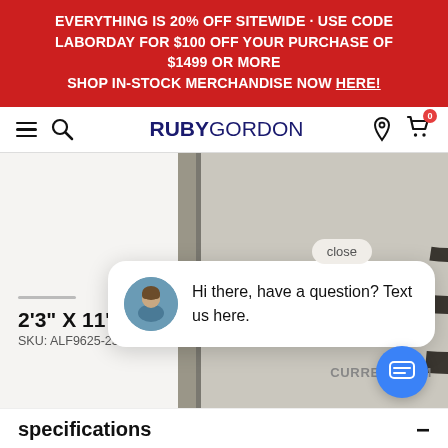EVERYTHING IS 20% OFF SITEWIDE · USE CODE LABORDAY FOR $100 OFF YOUR PURCHASE OF $1499 OR MORE SHOP IN-STOCK MERCHANDISE NOW HERE!
[Figure (screenshot): Ruby Gordon website navbar with hamburger menu, search icon, RUBYGORDON logo, location pin icon, and shopping cart icon with badge 0]
[Figure (photo): Product page showing a rug with Greek key border pattern, product size 2'3" X 11'9", SKU: ALF9625-23119, and a chat popup saying 'Hi there, have a question? Text us here.' with a close button and chat FAB button]
specifications